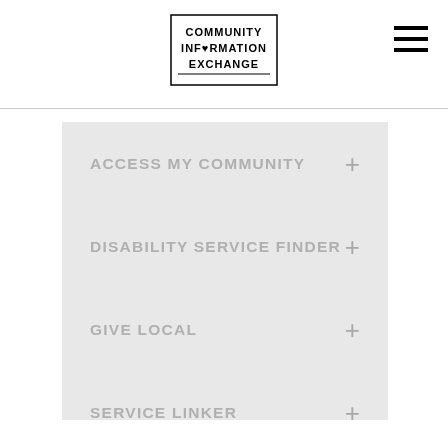COMMUNITY INFORMATION EXCHANGE
ACCESS MY COMMUNITY
DISABILITY SERVICE FINDER
GIVE LOCAL
SERVICE LINKER
MY COMMUNITY DIRECTORY
MY COMMUNITY DIARY